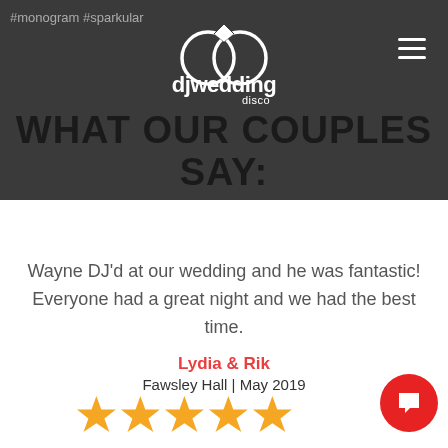#monogram #sparkular
[Figure (logo): DJ Wedding Disco logo — white rings and diamond with text 'djwedding disco' in white on dark grey background]
WHAT OUR COUPLES SAY:
Wayne DJ'd at our wedding and he was fantastic! Everyone had a great night and we had the best time.
Lydia & Rik
Fawsley Hall | May 2019
[Figure (other): 5 gold/orange star rating icons]